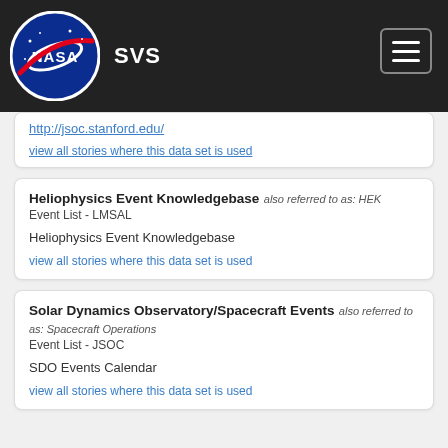NASA SVS
http://jsoc.stanford.edu/
view all stories where this data set is used
Heliophysics Event Knowledgebase also referred to as: HEK Event List - LMSAL
Heliophysics Event Knowledgebase
view all stories where this data set is used
Solar Dynamics Observatory/Spacecraft Events also referred to as: Spacecraft Operations Event List - JSOC
SDO Events Calendar
view all stories where this data set is used